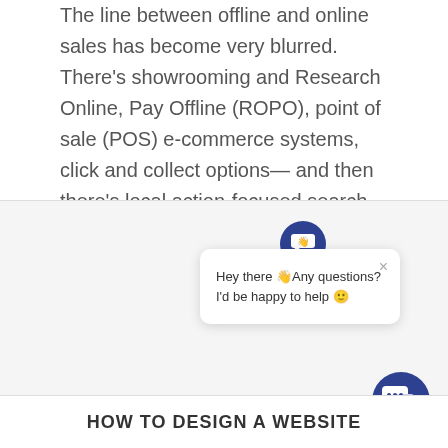The line between offline and online sales has become very blurred. There's showrooming and Research Online, Pay Offline (ROPO), point of sale (POS) e-commerce systems, click and collect options— and then there's local action-focused search to factor in. With...
[Figure (screenshot): A live chat popup widget showing a chat avatar icon at top and a message bubble with text 'Hey there 👋Any questions? I'd be happy to help 🙂' with a close button (×), and a large blue circular chat button in the bottom-right corner with a chat icon.]
HOW TO DESIGN A WEBSITE